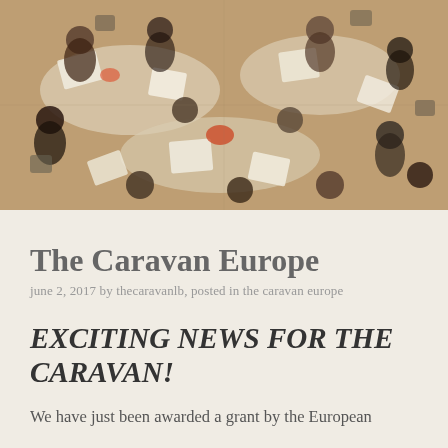[Figure (photo): Aerial/overhead view of people sitting around tables working with papers and documents, viewed from above in a large hall or workspace]
The Caravan Europe
june 2, 2017 by thecaravanlb, posted in the caravan europe
EXCITING NEWS FOR THE CARAVAN!
We have just been awarded a grant by the European